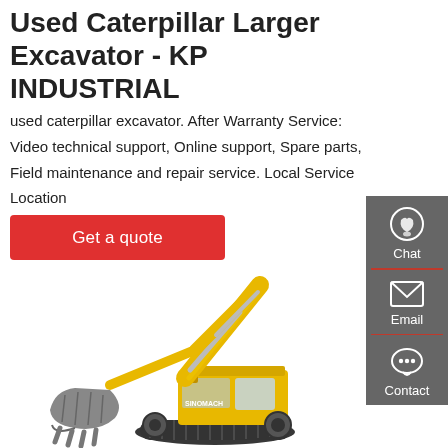Used Caterpillar Larger Excavator - KP INDUSTRIAL
used caterpillar excavator. After Warranty Service: Video technical support, Online support, Spare parts, Field maintenance and repair service. Local Service Location
[Figure (other): Red 'Get a quote' button]
[Figure (illustration): Yellow large excavator (SINOMACH brand) with grey bucket and tracks on white background]
[Figure (infographic): Grey sidebar with Chat (headset icon), Email (envelope icon), and Contact (speech bubble icon) options separated by red dividers]